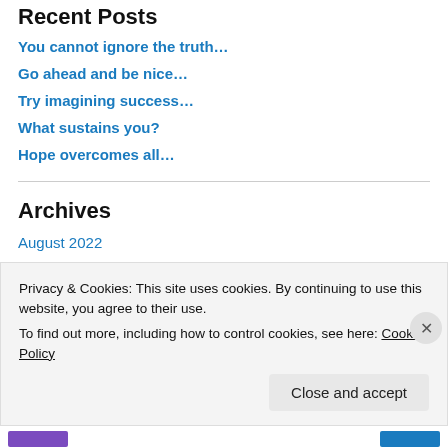Recent Posts
You cannot ignore the truth…
Go ahead and be nice…
Try imagining success…
What sustains you?
Hope overcomes all…
Archives
August 2022
July 2022
June 2022
Privacy & Cookies: This site uses cookies. By continuing to use this website, you agree to their use. To find out more, including how to control cookies, see here: Cookie Policy
Close and accept